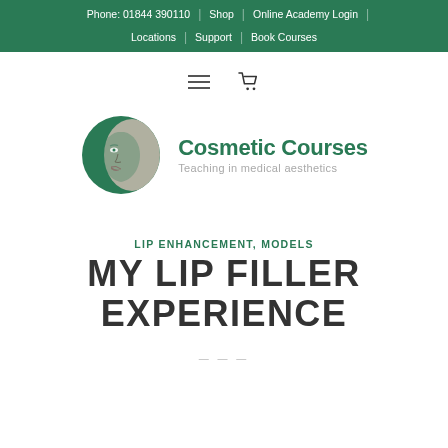Phone: 01844 390110 | Shop | Online Academy Login | Locations | Support | Book Courses
[Figure (logo): Cosmetic Courses logo with green circle containing a woman's face illustration, text: Cosmetic Courses, Teaching in medical aesthetics]
LIP ENHANCEMENT, MODELS
MY LIP FILLER EXPERIENCE